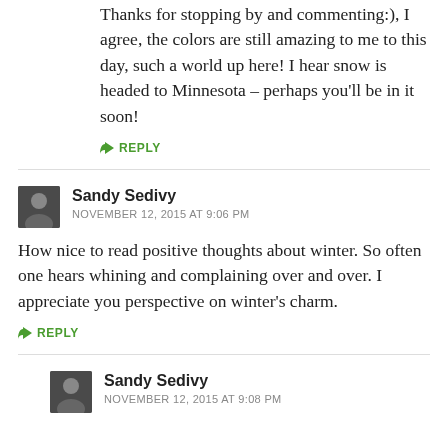Thanks for stopping by and commenting:), I agree, the colors are still amazing to me to this day, such a world up here! I hear snow is headed to Minnesota – perhaps you'll be in it soon!
↳ REPLY
Sandy Sedivy
NOVEMBER 12, 2015 AT 9:06 PM
How nice to read positive thoughts about winter. So often one hears whining and complaining over and over. I appreciate you perspective on winter's charm.
↳ REPLY
Sandy Sedivy
NOVEMBER 12, 2015 AT 9:08 PM